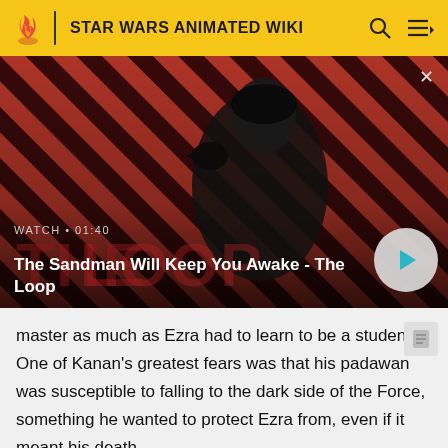STAR WARS ANIMATED WIKI
[Figure (screenshot): Video thumbnail showing a dark-cloaked figure with a raven on shoulder against a red and black diagonal striped background. Overlay shows WATCH • 01:40 label and video title 'The Sandman Will Keep You Awake - The Loop' with a play button.]
master as much as Ezra had to learn to be a student.  One of Kanan's greatest fears was that his padawan was susceptible to falling to the dark side of the Force, something he wanted to protect Ezra from, even if it meant his death.